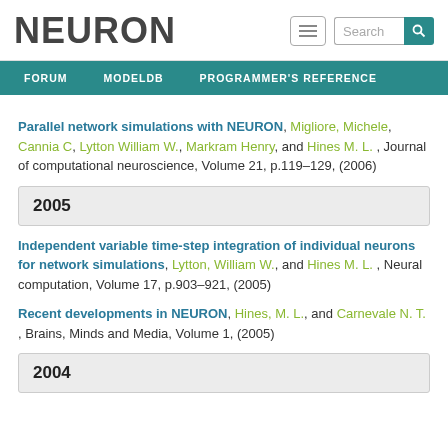NEURON
Parallel network simulations with NEURON, Migliore, Michele, Cannia C, Lytton William W., Markram Henry, and Hines M. L. , Journal of computational neuroscience, Volume 21, p.119–129, (2006)
2005
Independent variable time-step integration of individual neurons for network simulations, Lytton, William W., and Hines M. L. , Neural computation, Volume 17, p.903–921, (2005)
Recent developments in NEURON, Hines, M. L., and Carnevale N. T. , Brains, Minds and Media, Volume 1, (2005)
2004